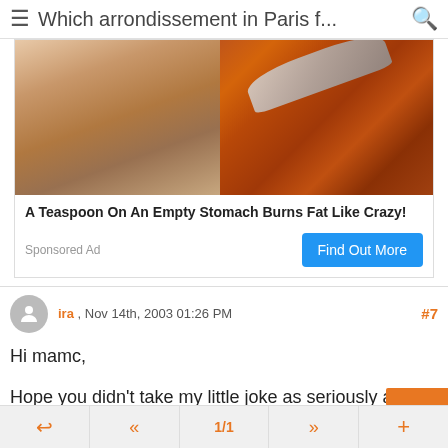≡ Which arrondissement in Paris f... 🔍
[Figure (photo): Sponsored ad image showing a person's torso with abs on the left half and a spoon with spice/powder on the right half]
A Teaspoon On An Empty Stomach Burns Fat Like Crazy!
Sponsored Ad    Find Out More
ira , Nov 14th, 2003 01:26 PM   #7
Hi mamc,

Hope you didn't take my little joke as seriously as grasshopper did.
↩  «  1/1  »  +